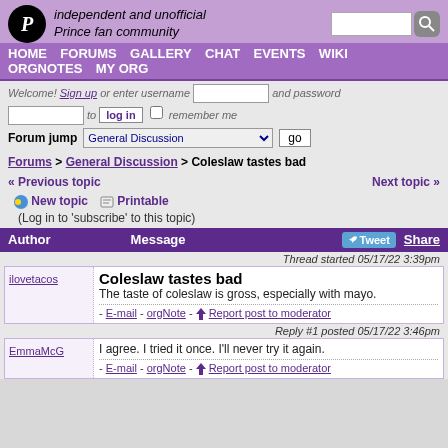independent and unofficial Prince fan community
HOME  FORUMS  GALLERY  CHAT  EVENTS  WIKI  ORGNOTES  MY ORG
Welcome! Sign up or enter username and password to log in remember me
Forum jump: General Discussion  go
Forums > General Discussion > Coleslaw tastes bad
« Previous topic
Next topic »
New topic  Printable
(Log in to 'subscribe' to this topic)
| Author | Message | Tweet  Share |
| --- | --- | --- |
| ilovetacos | Coleslaw tastes bad
The taste of coleslaw is gross, especially with mayo.
- E-mail - orgNote - Report post to moderator |  |
| EmmaMcG | I agree. I tried it once. I'll never try it again.
- E-mail - orgNote - Report post to moderator |  |